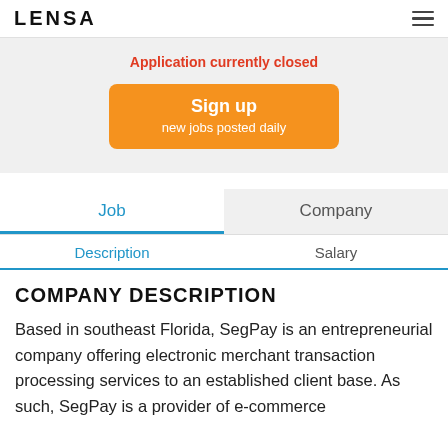LENSA
Application currently closed
Sign up
new jobs posted daily
Job	Company
Description	Salary
COMPANY DESCRIPTION
Based in southeast Florida, SegPay is an entrepreneurial company offering electronic merchant transaction processing services to an established client base. As such, SegPay is a provider of e-commerce